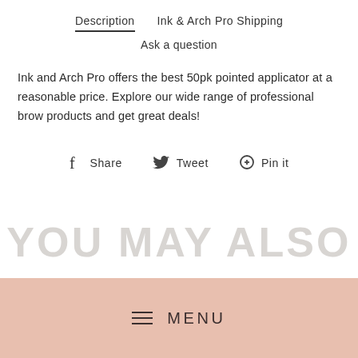Description   Ink & Arch Pro Shipping   Ask a question
Ink and Arch Pro offers the best 50pk pointed applicator at a reasonable price. Explore our wide range of professional brow products and get great deals!
Share   Tweet   Pin it
YOU MAY ALSO
MENU